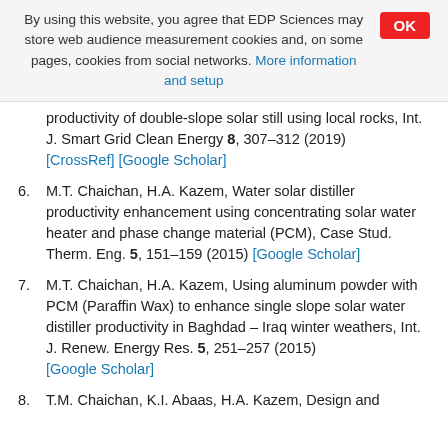By using this website, you agree that EDP Sciences may store web audience measurement cookies and, on some pages, cookies from social networks. More information and setup
productivity of double-slope solar still using local rocks, Int. J. Smart Grid Clean Energy 8, 307–312 (2019) [CrossRef] [Google Scholar]
6. M.T. Chaichan, H.A. Kazem, Water solar distiller productivity enhancement using concentrating solar water heater and phase change material (PCM), Case Stud. Therm. Eng. 5, 151–159 (2015) [Google Scholar]
7. M.T. Chaichan, H.A. Kazem, Using aluminum powder with PCM (Paraffin Wax) to enhance single slope solar water distiller productivity in Baghdad – Iraq winter weathers, Int. J. Renew. Energy Res. 5, 251–257 (2015) [Google Scholar]
8. T.M. Chaichan, K.I. Abaas, H.A. Kazem, Design and